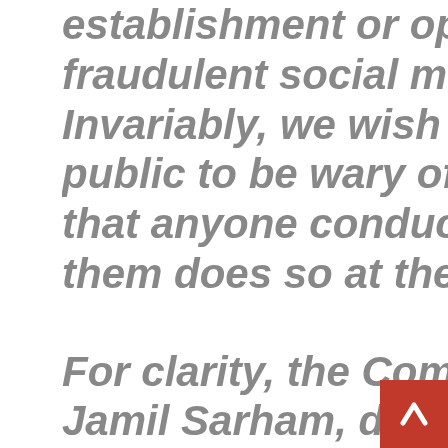establishment or ope fraudulent social mec Invariably, we wish to public to be wary of t that anyone conducti them does so at their For clarity, the Comm Jamil Sarham, does n social media handle f NDA matters. All NDA transmitted via our of www.nda.edu.ng and and Twitter handles